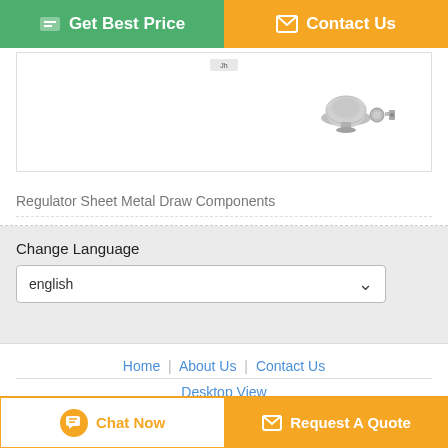[Figure (screenshot): Green Get Best Price button and orange Contact Us button at the top of a product page]
[Figure (photo): Small product image of a Regulator Sheet Metal Draw Component on a white background with a small label visible]
Regulator Sheet Metal Draw Components
Change Language
english
Home | About Us | Contact Us
Desktop View
Copyright © 2019 - 2020 jhstamping.com.
All rights reserved.
[Figure (screenshot): White Chat Now button with orange border and orange circle icon, and orange Request A Quote button at the bottom]